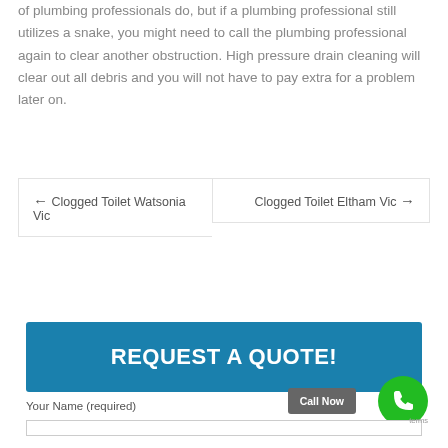of plumbing professionals do, but if a plumbing professional still utilizes a snake, you might need to call the plumbing professional again to clear another obstruction. High pressure drain cleaning will clear out all debris and you will not have to pay extra for a problem later on.
← Clogged Toilet Watsonia Vic
Clogged Toilet Eltham Vic →
REQUEST A QUOTE!
Call Now
Your Name (required)